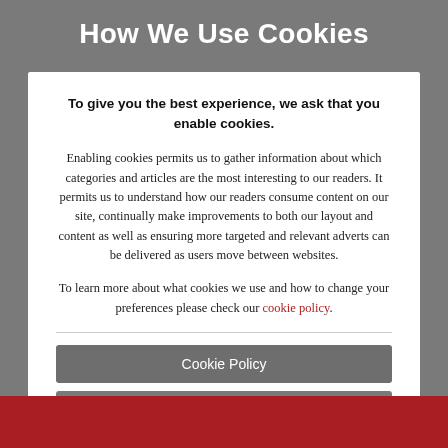How We Use Cookies
To give you the best experience, we ask that you enable cookies.
Enabling cookies permits us to gather information about which categories and articles are the most interesting to our readers. It permits us to understand how our readers consume content on our site, continually make improvements to both our layout and content as well as ensuring more targeted and relevant adverts can be delivered as users move between websites.
To learn more about what cookies we use and how to change your preferences please check our cookie policy.
Cookie Policy
Reject
Accept